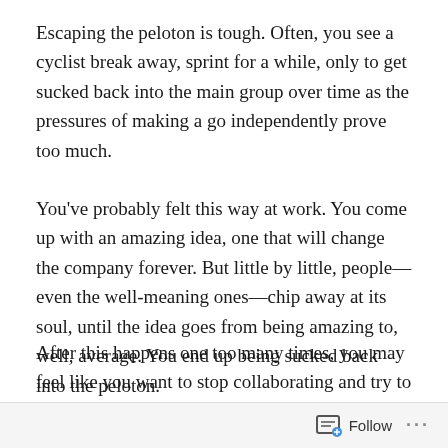Escaping the peloton is tough. Often, you see a cyclist break away, sprint for a while, only to get sucked back into the main group over time as the pressures of making a go independently prove too much.
You've probably felt this way at work. You come up with an amazing idea, one that will change the company forever. But little by little, people—even the well-meaning ones—chip away at its soul, until the idea goes from being amazing to, well, average. You end up being sucked back into the peloton.
After this happens one too many times, you may feel like you want to stop collaborating and try to make things happen on your own. Don't do it. Even Lance Armstrong
Follow ···